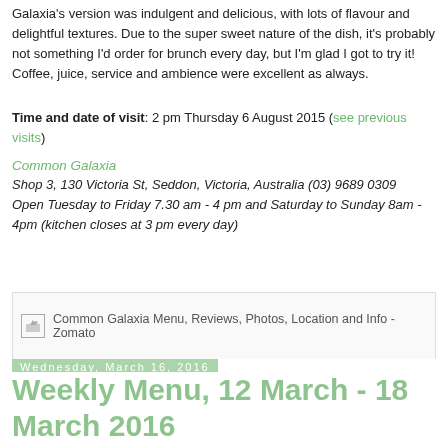Galaxia's version was indulgent and delicious, with lots of flavour and delightful textures. Due to the super sweet nature of the dish, it's probably not something I'd order for brunch every day, but I'm glad I got to try it! Coffee, juice, service and ambience were excellent as always.
Time and date of visit: 2 pm Thursday 6 August 2015 (see previous visits)
Common Galaxia
Shop 3, 130 Victoria St, Seddon, Victoria, Australia (03) 9689 0309
Open Tuesday to Friday 7.30 am - 4 pm and Saturday to Sunday 8am - 4pm (kitchen closes at 3 pm every day)
[Figure (other): Common Galaxia Menu, Reviews, Photos, Location and Info - Zomato (broken image placeholder with link text)]
uberjoi at 10:30 AM    No comments:
Share
Wednesday, March 16, 2016
Weekly Menu, 12 March - 18 March 2016